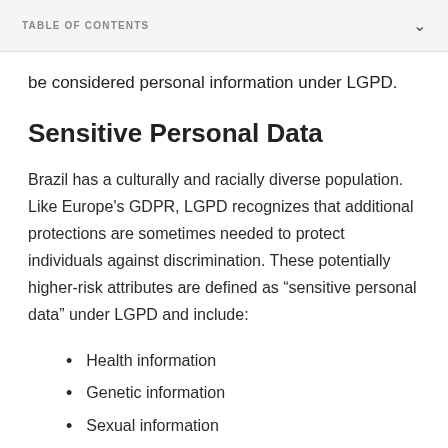TABLE OF CONTENTS
be considered personal information under LGPD.
Sensitive Personal Data
Brazil has a culturally and racially diverse population. Like Europe's GDPR, LGPD recognizes that additional protections are sometimes needed to protect individuals against discrimination. These potentially higher-risk attributes are defined as “sensitive personal data” under LGPD and include:
Health information
Genetic information
Sexual information